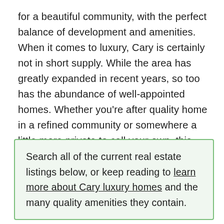for a beautiful community, with the perfect balance of development and amenities. When it comes to luxury, Cary is certainly not in short supply. While the area has greatly expanded in recent years, so too has the abundance of well-appointed homes. Whether you're after quality home in a refined community or somewhere a little more private to call your own, this charming bedroom community has it all.
Search all of the current real estate listings below, or keep reading to learn more about Cary luxury homes and the many quality amenities they contain.